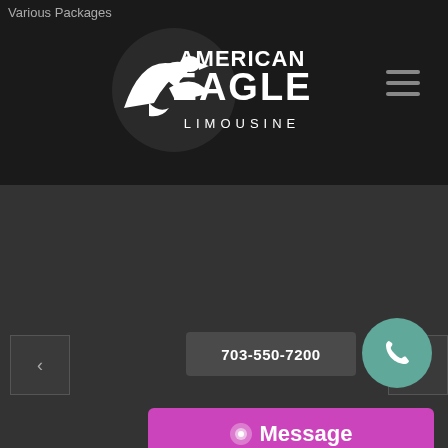Various Packages
[Figure (logo): American Eagle Limousine logo — white eagle and text on dark background]
[Figure (infographic): Hamburger menu icon (three horizontal lines)]
[Figure (infographic): Left carousel arrow button]
[Figure (infographic): Right carousel arrow button]
703-550-7200
[Figure (infographic): Teal phone call circle button with handset icon]
Message